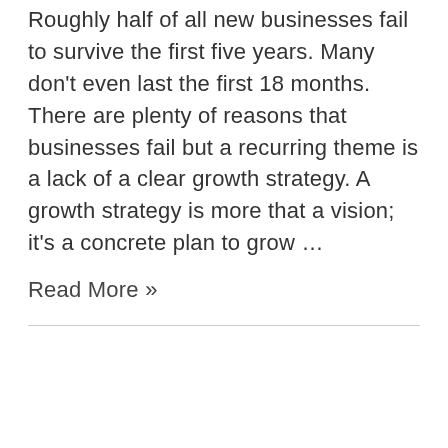Roughly half of all new businesses fail to survive the first five years. Many don't even last the first 18 months. There are plenty of reasons that businesses fail but a recurring theme is a lack of a clear growth strategy. A growth strategy is more that a vision; it's a concrete plan to grow …
Read More »